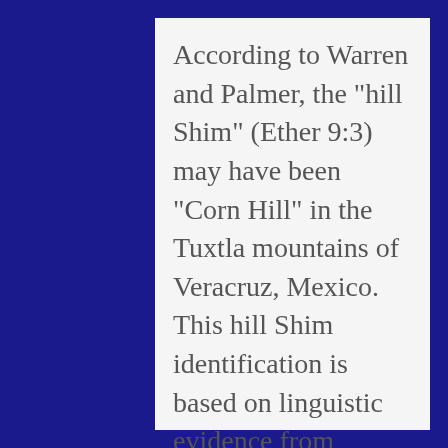According to Warren and Palmer, the "hill Shim" (Ether 9:3) may have been "Corn Hill" in the Tuxtla mountains of Veracruz, Mexico.  This hill Shim identification is based on linguistic evidence from Mayan languages, using their word for corn or maize.  It is "sim" (transliterated "Shim").  There is no hill called Shim today in Southern Veracruz.  However, there is a mountain with the same meaning.  In Aztec language, "Cintepec" means "corn hill" (Warren, 1983).  This hill Cintepec is located near Lake Catemaco in the Tuxtla mountains (see illustration).  It is also close to the coastal plain, so that a trip from this hill to the Cerro Vigia (the proposed